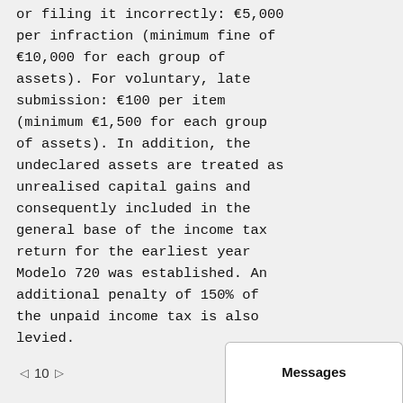or filing it incorrectly: €5,000 per infraction (minimum fine of €10,000 for each group of assets). For voluntary, late submission: €100 per item (minimum €1,500 for each group of assets). In addition, the undeclared assets are treated as unrealised capital gains and consequently included in the general base of the income tax return for the earliest year Modelo 720 was established. An additional penalty of 150% of the unpaid income tax is also levied.
◁ 10 ▷
Messages